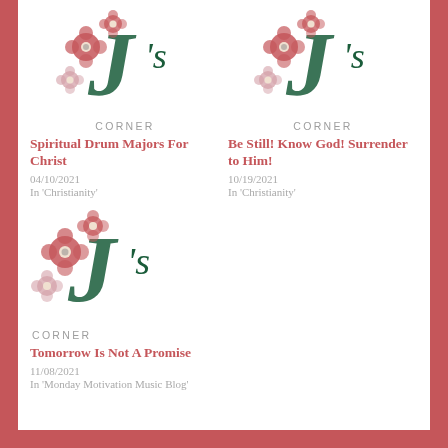[Figure (logo): J's Corner decorative logo with floral motif, top-left]
CORNER
Spiritual Drum Majors For Christ
04/10/2021
In 'Christianity'
[Figure (logo): J's Corner decorative logo with floral motif, top-right]
CORNER
Be Still! Know God! Surrender to Him!
10/19/2021
In 'Christianity'
[Figure (logo): J's Corner decorative logo with floral motif, bottom-left]
CORNER
Tomorrow Is Not A Promise
11/08/2021
In 'Monday Motivation Music Blog'